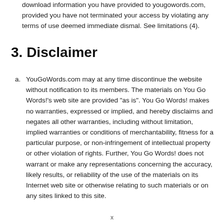download information you have provided to yougowords.com, provided you have not terminated your access by violating any terms of use deemed immediate dismal. See limitations (4).
3. Disclaimer
a. YouGoWords.com may at any time discontinue the website without notification to its members. The materials on You Go Words!'s web site are provided "as is". You Go Words! makes no warranties, expressed or implied, and hereby disclaims and negates all other warranties, including without limitation, implied warranties or conditions of merchantability, fitness for a particular purpose, or non-infringement of intellectual property or other violation of rights. Further, You Go Words! does not warrant or make any representations concerning the accuracy, likely results, or reliability of the use of the materials on its Internet web site or otherwise relating to such materials or on any sites linked to this site.
x